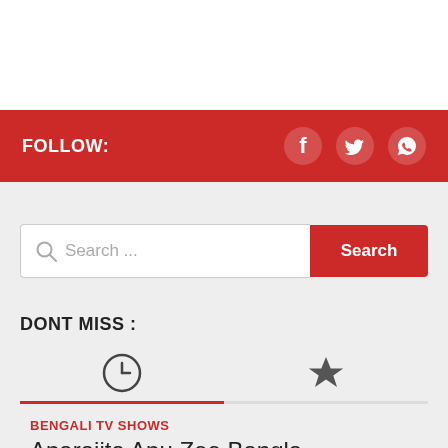FOLLOW:
[Figure (illustration): Social media icons: Facebook, Twitter, WhatsApp in white on red background]
[Figure (illustration): Search bar with magnifying glass icon and Search button]
DONT MISS :
[Figure (illustration): Tab icons: clock icon (recent/active tab) and star icon (favorites tab)]
BENGALI TV SHOWS
Aparajita Apu Zee Bangla